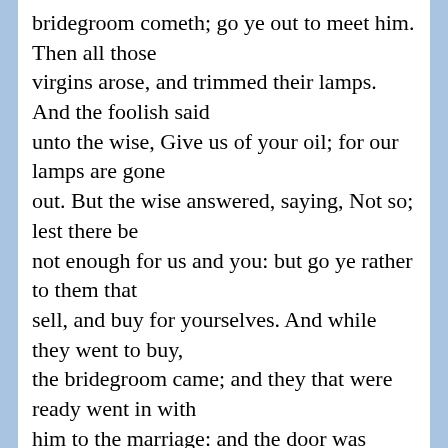bridegroom cometh; go ye out to meet him. Then all those virgins arose, and trimmed their lamps. And the foolish said unto the wise, Give us of your oil; for our lamps are gone out. But the wise answered, saying, Not so; lest there be not enough for us and you: but go ye rather to them that sell, and buy for yourselves. And while they went to buy, the bridegroom came; and they that were ready went in with him to the marriage: and the door was shut." Matthew 25:6-10, KJV
Notice, that in this example, we are very specifically told that the foolish virgins, those who did not